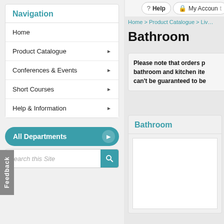Navigation
Home
Product Catalogue ▶
Conferences & Events ▶
Short Courses ▶
Help & Information ▶
All Departments
Search this Site
Feedback
Help  My Account
Home > Product Catalogue > Li...
Bathroom
Please note that orders p... bathroom and kitchen ite... can't be guaranteed to be...
Bathroom
[Figure (other): Empty white image placeholder for Bathroom category]